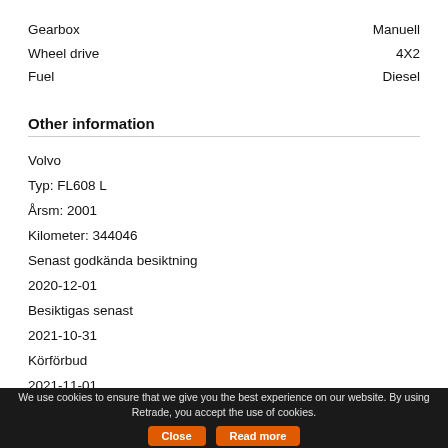Gearbox — Manuell
Wheel drive — 4X2
Fuel — Diesel
Other information
Volvo
Typ: FL608 L
Årsm: 2001
Kilometer: 344046
Senast godkända besiktning
2020-12-01
Besiktigas senast
2021-10-31
Körförbud
2021-11-01
Längd: 7.85 m
Bredd: 2.60 m
We use cookies to ensure that we give you the best experience on our website. By using Retrade, you accept the use of cookies.